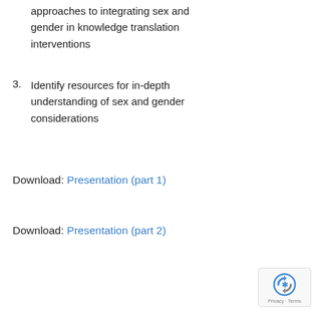approaches to integrating sex and gender in knowledge translation interventions
3. Identify resources for in-depth understanding of sex and gender considerations
Download: Presentation (part 1)
Download: Presentation (part 2)